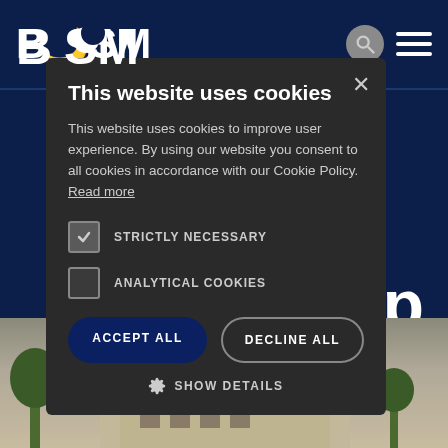[Figure (screenshot): BSM website screenshot showing navigation bar with BSM logo, search icon, and hamburger menu on a dark navy background, with partial page content including the word 'shop' and a building photo]
This website uses cookies
This website uses cookies to improve user experience. By using our website you consent to all cookies in accordance with our Cookie Policy. Read more
STRICTLY NECESSARY
ANALYTICAL COOKIES
ACCEPT ALL
DECLINE ALL
SHOW DETAILS